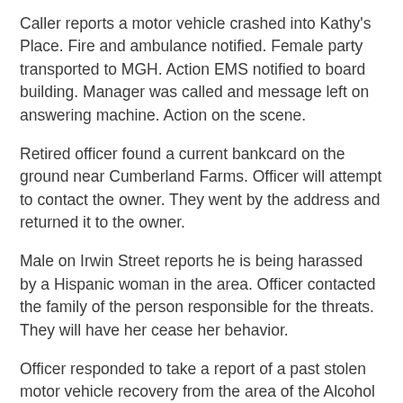Caller reports a motor vehicle crashed into Kathy's Place. Fire and ambulance notified. Female party transported to MGH. Action EMS notified to board building. Manager was called and message left on answering machine. Action on the scene.
Retired officer found a current bankcard on the ground near Cumberland Farms. Officer will attempt to contact the owner. They went by the address and returned it to the owner.
Male on Irwin Street reports he is being harassed by a Hispanic woman in the area. Officer contacted the family of the person responsible for the threats. They will have her cease her behavior.
Officer responded to take a report of a past stolen motor vehicle recovery from the area of the Alcohol and Drug Fee Lodging Home. Officer reports speaking with the parties. It was a civil matter at this point between the car rental company and a male at the Home.
Party on Moore Street reports that her son's new orange and